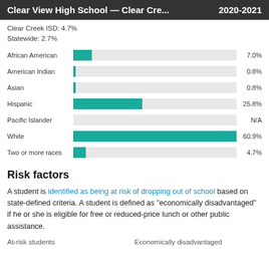Clear View High School — Clear Cre... 2020-2021
Clear Creek ISD: 4.7%
Statewide: 2.7%
[Figure (bar-chart): Racial/Ethnic demographics]
Risk factors
A student is identified as being at risk of dropping out of school based on state-defined criteria. A student is defined as "economically disadvantaged" if he or she is eligible for free or reduced-price lunch or other public assistance.
At-risk students    Economically disadvantaged